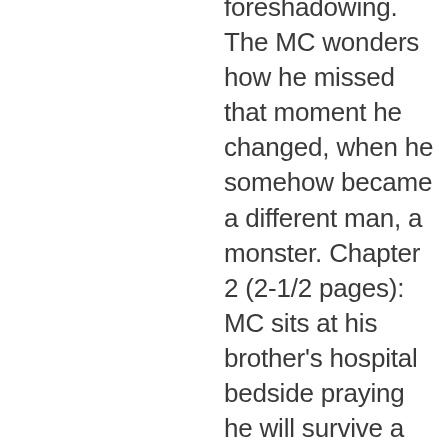foreshadowing. The MC wonders how he missed that moment he changed, when he somehow became a different man, a monster. Chapter 2 (2-1/2 pages): MC sits at his brother's hospital bedside praying he will survive a brutal retaliatory attack & beating. So, would you